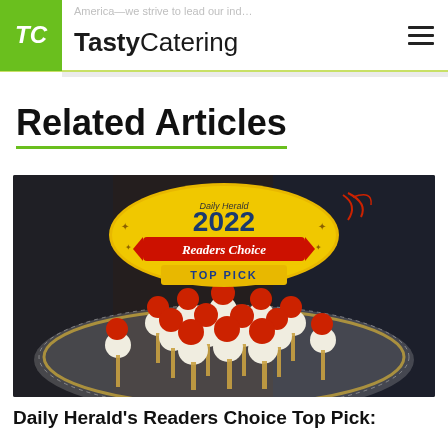TastyCatering
America—we strive to lead our ind...
Related Articles
[Figure (photo): A glass charger plate with caprese skewers (cherry tomatoes and mozzarella) arranged on it, with a Daily Herald 2022 Readers Choice Top Pick badge overlay visible in the upper center of the image.]
Daily Herald's Readers Choice Top Pick: